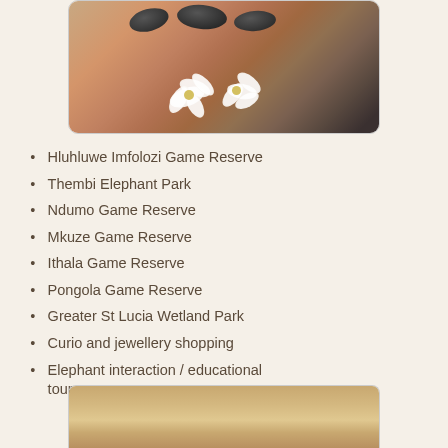[Figure (photo): Hot stone massage with dark smooth stones placed on person's back, white orchid flowers in foreground]
Hluhluwe Imfolozi Game Reserve
Thembi Elephant Park
Ndumo Game Reserve
Mkuze Game Reserve
Ithala Game Reserve
Pongola Game Reserve
Greater St Lucia Wetland Park
Curio and jewellery shopping
Elephant interaction / educational tour
[Figure (photo): Warm golden sunset or landscape photo, partially visible at bottom of page]